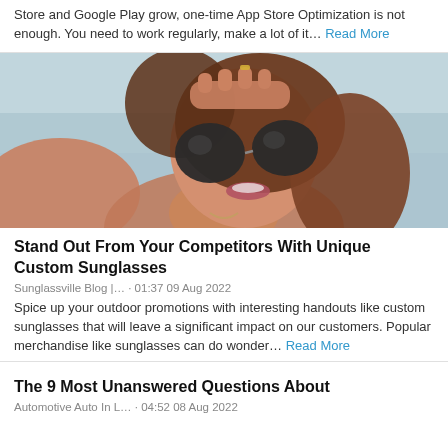Store and Google Play grow, one-time App Store Optimization is not enough. You need to work regularly, make a lot of it… Read More
[Figure (photo): Young woman wearing stylish round sunglasses, hand raised to forehead, smiling, outdoor background]
Stand Out From Your Competitors With Unique Custom Sunglasses
Sunglassville Blog |… · 01:37 09 Aug 2022
Spice up your outdoor promotions with interesting handouts like custom sunglasses that will leave a significant impact on our customers. Popular merchandise like sunglasses can do wonder… Read More
The 9 Most Unanswered Questions About
Automotive Auto In L… · 04:52 08 Aug 2022